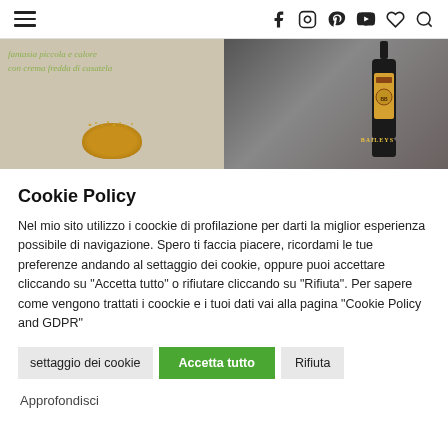≡ (hamburger menu) | social icons: f, instagram, pinterest, youtube, heart, search
[Figure (photo): Two food/drink images side by side: left shows a dessert with gold dust and italic green text overlay, right shows a Baileys bottle on a dark background]
Cookie Policy
Nel mio sito utilizzo i coockie di profilazione per darti la miglior esperienza possibile di navigazione. Spero ti faccia piacere, ricordami le tue preferenze andando al settaggio dei cookie, oppure puoi accettare cliccando su "Accetta tutto" o rifiutare cliccando su "Rifiuta". Per sapere come vengono trattati i coockie e i tuoi dati vai alla pagina "Cookie Policy and GDPR"
settaggio dei cookie | Accetta tutto | Rifiuta
Approfondisci